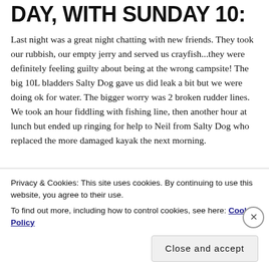DAY, WITH SUNDAY 10:
Last night was a great night chatting with new friends. They took our rubbish, our empty jerry and served us crayfish...they were definitely feeling guilty about being at the wrong campsite! The big 10L bladders Salty Dog gave us did leak a bit but we were doing ok for water. The bigger worry was 2 broken rudder lines. We took an hour fiddling with fishing line, then another hour at lunch but ended up ringing for help to Neil from Salty Dog who replaced the more damaged kayak the next morning.
Privacy & Cookies: This site uses cookies. By continuing to use this website, you agree to their use.
To find out more, including how to control cookies, see here: Cookie Policy
Close and accept